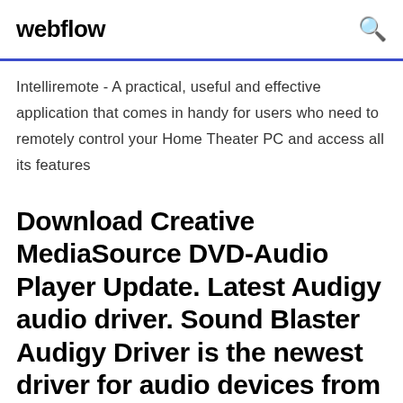webflow
Intelliremote - A practical, useful and effective application that comes in handy for users who need to remotely control your Home Theater PC and access all its features
Download Creative MediaSource DVD-Audio Player Update. Latest Audigy audio driver. Sound Blaster Audigy Driver is the newest driver for audio devices from
audigy2 i'm trying to instal the audigy2 sound